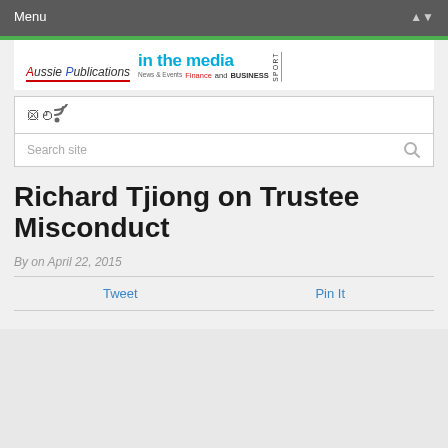Menu
[Figure (logo): Aussie Publications in the media - Finance and Business - Sport logo]
Search site
Richard Tjiong on Trustee Misconduct
By on April 22, 2015
Tweet   Pin It